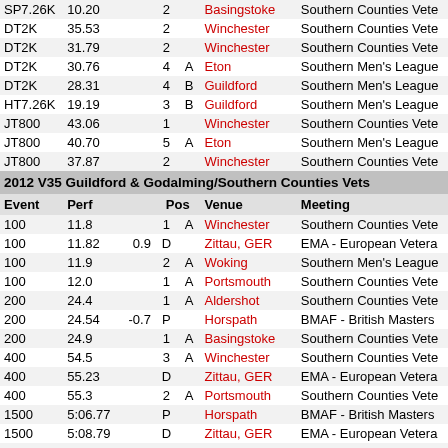| Event | Perf |  | Pos |  | Venue | Meeting |
| --- | --- | --- | --- | --- | --- | --- |
| SP7.26K | 10.20 |  | 2 |  | Basingstoke | Southern Counties Vets |
| DT2K | 35.53 |  | 2 |  | Winchester | Southern Counties Vets |
| DT2K | 31.79 |  | 2 |  | Winchester | Southern Counties Vets |
| DT2K | 30.76 |  | 4 | A | Eton | Southern Men's League |
| DT2K | 28.31 |  | 4 | B | Guildford | Southern Men's League |
| HT7.26K | 19.19 |  | 3 | B | Guildford | Southern Men's League |
| JT800 | 43.06 |  | 1 |  | Winchester | Southern Counties Vets |
| JT800 | 40.70 |  | 5 | A | Eton | Southern Men's League |
| JT800 | 37.87 |  | 2 |  | Winchester | Southern Counties Vets |
2012 V35 Guildford & Godalming/Southern Counties Vets
| Event | Perf |  | Pos |  | Venue | Meeting |
| --- | --- | --- | --- | --- | --- | --- |
| 100 | 11.8 |  | 1 | A | Winchester | Southern Counties Vets |
| 100 | 11.82 | 0.9 | D |  | Zittau, GER | EMA - European Veterans |
| 100 | 11.9 |  | 2 | A | Woking | Southern Men's League |
| 100 | 12.0 |  | 1 | A | Portsmouth | Southern Counties Vets |
| 200 | 24.4 |  | 1 | A | Aldershot | Southern Counties Vets |
| 200 | 24.54 | -0.7 | P |  | Horspath | BMAF - British Masters |
| 200 | 24.9 |  | 1 | A | Basingstoke | Southern Counties Vets |
| 400 | 54.5 |  | 3 | A | Winchester | Southern Counties Vets |
| 400 | 55.23 |  | D |  | Zittau, GER | EMA - European Veterans |
| 400 | 55.3 |  | 2 | A | Portsmouth | Southern Counties Vets |
| 1500 | 5:06.77 |  | P |  | Horspath | BMAF - British Masters |
| 1500 | 5:08.79 |  | D |  | Zittau, GER | EMA - European Veterans |
| 110H | 16.00 | -0.6 | D |  | Zittau, GER | EMA - European Veterans |
| 110H | 16.5 |  | 3 | A | Bracknell | Southern Men's League |